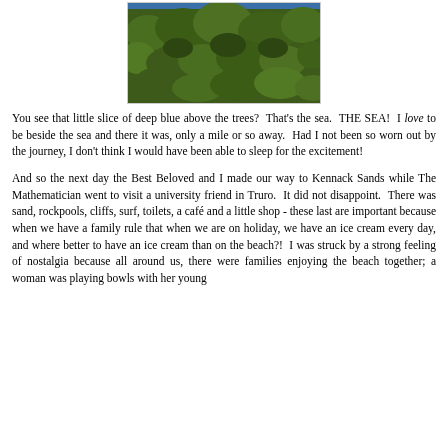[Figure (photo): Aerial or elevated view of dense green forest/treetops with a hint of deep blue sky/sea above the trees.]
You see that little slice of deep blue above the trees?  That's the sea.  THE SEA!  I love to be beside the sea and there it was, only a mile or so away.  Had I not been so worn out by the journey, I don't think I would have been able to sleep for the excitement!
And so the next day the Best Beloved and I made our way to Kennack Sands while The Mathematician went to visit a university friend in Truro.  It did not disappoint.  There was sand, rockpools, cliffs, surf, toilets, a café and a little shop - these last are important because when we have a family rule that when we are on holiday, we have an ice cream every day, and where better to have an ice cream than on the beach?!  I was struck by a strong feeling of nostalgia because all around us, there were families enjoying the beach together; a woman was playing bowls with her young